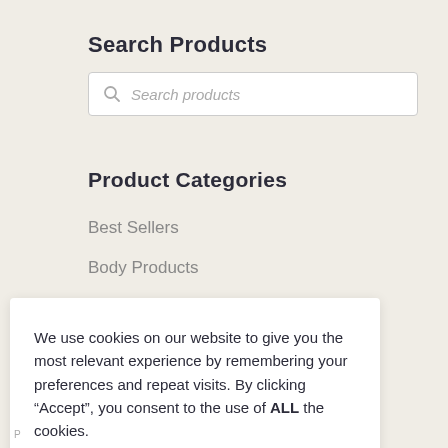Search Products
[Figure (screenshot): Search input box with magnifying glass icon and placeholder text 'Search products']
Product Categories
Best Sellers
Body Products
We use cookies on our website to give you the most relevant experience by remembering your preferences and repeat visits. By clicking “Accept”, you consent to the use of ALL the cookies.
Cookie settings   ACCEPT